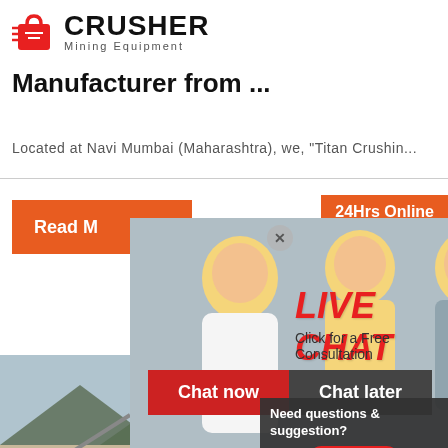[Figure (logo): CRUSHER Mining Equipment logo with red shopping bag icon and bold black text]
Manufacturer from ...
Located at Navi Mumbai (Maharashtra), we, "Titan Crushin...
[Figure (screenshot): Screenshot of a website page showing a crusher mining equipment site with a live chat popup overlay, construction site image, and customer service agent image]
24Hrs Online
Read M
LIVE CHAT
Click for a Free Consultation
Chat now
Chat later
Crush
Machi
पत्थर क
की मश
Need questions & suggestion?
Chat Now
Enquiry
limingjlmofen@sina.com